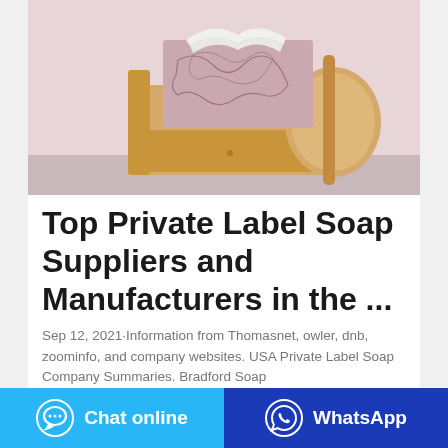[Figure (photo): A wooden tissue box holder/caddy on a shelf, holding a patterned tissue box with white tissues visible at the top. Pink/mauve background.]
Top Private Label Soap Suppliers and Manufacturers in the ...
Sep 12, 2021·Information from Thomasnet, owler, dnb, zoominfo, and company websites. USA Private Label Soap Company Summaries. Bradford Soap
Chat online
WhatsApp